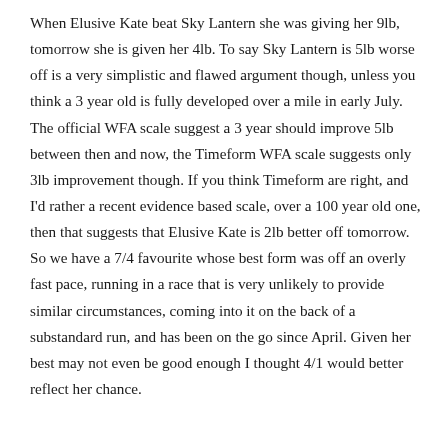When Elusive Kate beat Sky Lantern she was giving her 9lb, tomorrow she is given her 4lb. To say Sky Lantern is 5lb worse off is a very simplistic and flawed argument though, unless you think a 3 year old is fully developed over a mile in early July. The official WFA scale suggest a 3 year should improve 5lb between then and now, the Timeform WFA scale suggests only 3lb improvement though. If you think Timeform are right, and I'd rather a recent evidence based scale, over a 100 year old one, then that suggests that Elusive Kate is 2lb better off tomorrow. So we have a 7/4 favourite whose best form was off an overly fast pace, running in a race that is very unlikely to provide similar circumstances, coming into it on the back of a substandard run, and has been on the go since April. Given her best may not even be good enough I thought 4/1 would better reflect her chance.